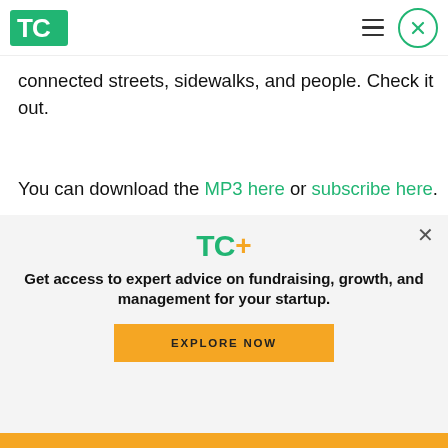TechCrunch logo, hamburger menu, close button
connected streets, sidewalks, and people. Check it out.
You can download the MP3 here or subscribe here.
[Figure (other): Podcast player for Technotopia Episode 19 - David Fine with play button, progress bar, and controls showing 30 back, 00:00:00 timestamp, 30 forward]
[Figure (other): TC+ promotional overlay with logo, tagline and Explore Now button]
Yellow bottom bar